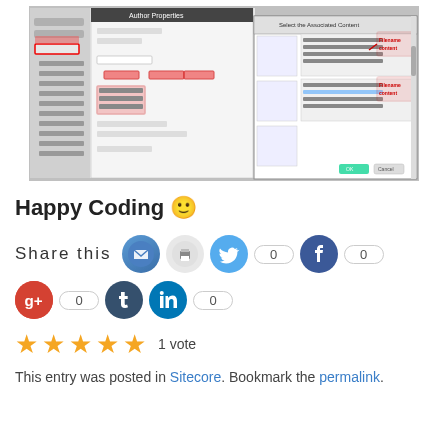[Figure (screenshot): Screenshot of a software interface (likely Sitecore) showing Author Properties dialog and a Select the Associated Content dialog with red annotation boxes highlighting UI elements labeled 'Filename content']
Happy Coding 😊
Share this [email icon] [print icon] [twitter icon] 0 [facebook icon] 0
[google+ icon] 0 [tumblr icon] [linkedin icon] 0
★★★★★ 1 vote
This entry was posted in Sitecore. Bookmark the permalink.